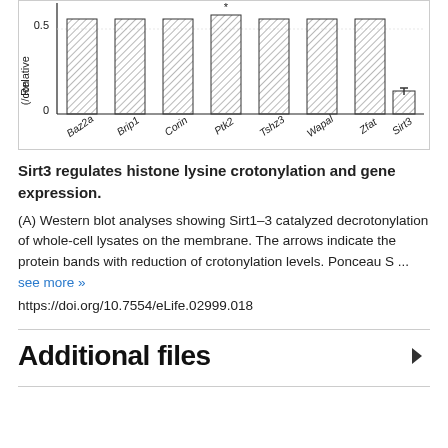[Figure (bar-chart): Relative expression (/con) for genes]
Sirt3 regulates histone lysine crotonylation and gene expression.
(A) Western blot analyses showing Sirt1–3 catalyzed decrotonylation of whole-cell lysates on the membrane. The arrows indicate the protein bands with reduction of crotonylation levels. Ponceau S ... see more »
https://doi.org/10.7554/eLife.02999.018
Additional files